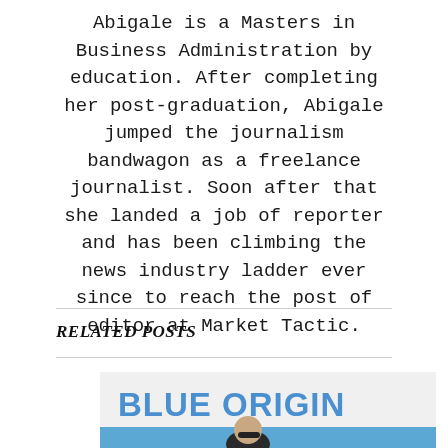Abigale is a Masters in Business Administration by education. After completing her post-graduation, Abigale jumped the journalism bandwagon as a freelance journalist. Soon after that she landed a job of reporter and has been climbing the news industry ladder ever since to reach the post of editor at Market Tactic.
RELATED POSTS
[Figure (photo): Photo showing Blue Origin logo on a white vehicle with a man in sunglasses below it against a blue sky background]